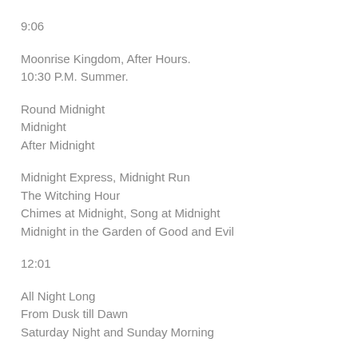9:06
Moonrise Kingdom, After Hours.
10:30 P.M. Summer.
Round Midnight
Midnight
After Midnight
Midnight Express, Midnight Run
The Witching Hour
Chimes at Midnight, Song at Midnight
Midnight in the Garden of Good and Evil
12:01
All Night Long
From Dusk till Dawn
Saturday Night and Sunday Morning
Make Way for Tomorrow